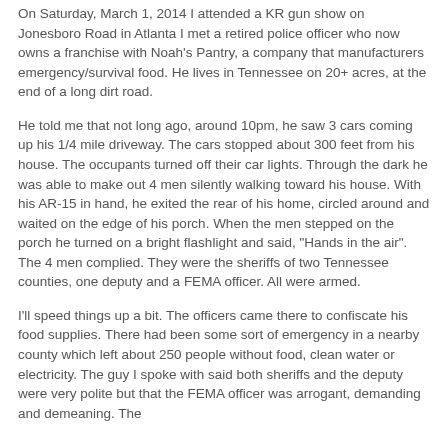On Saturday, March 1, 2014 I attended a KR gun show on Jonesboro Road in Atlanta I met a retired police officer who now owns a franchise with Noah's Pantry, a company that manufacturers emergency/survival food. He lives in Tennessee on 20+ acres, at the end of a long dirt road.
He told me that not long ago, around 10pm, he saw 3 cars coming up his 1/4 mile driveway. The cars stopped about 300 feet from his house. The occupants turned off their car lights. Through the dark he was able to make out 4 men silently walking toward his house. With his AR-15 in hand, he exited the rear of his home, circled around and waited on the edge of his porch. When the men stepped on the porch he turned on a bright flashlight and said, "Hands in the air". The 4 men complied. They were the sheriffs of two Tennessee counties, one deputy and a FEMA officer. All were armed.
I'll speed things up a bit. The officers came there to confiscate his food supplies. There had been some sort of emergency in a nearby county which left about 250 people without food, clean water or electricity. The guy I spoke with said both sheriffs and the deputy were very polite but that the FEMA officer was arrogant, demanding and demeaning. The